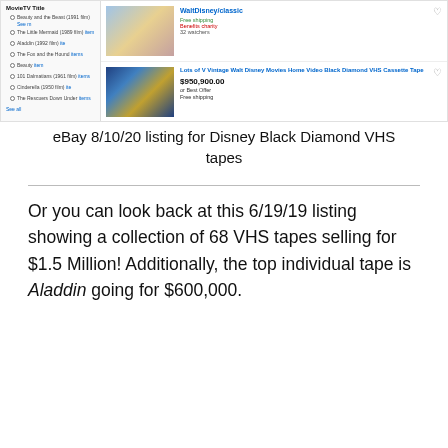[Figure (screenshot): eBay search results page showing Disney VHS tape listings with left filter panel listing movie titles with checkboxes, and two product listings with thumbnail images, prices, and shipping details. First listing shows a Disney VHS tape collection at top. Second listing shows 'Lots of V Vintage Walt Disney Movies Home Video Black Diamond VHS Cassette Tape' priced at $950,900.00 with Best Offer, Free shipping.]
eBay 8/10/20 listing for Disney Black Diamond VHS tapes
Or you can look back at this 6/19/19 listing showing a collection of 68 VHS tapes selling for $1.5 Million! Additionally, the top individual tape is Aladdin going for $600,000.